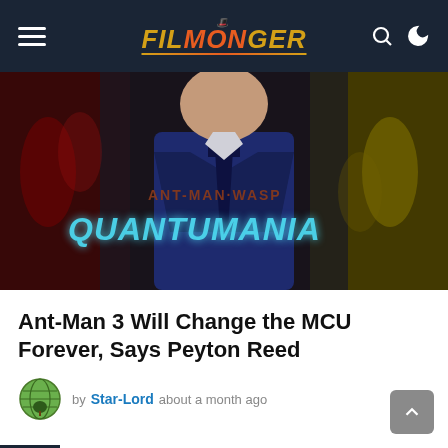Filmonger navigation bar
[Figure (photo): Hero image showing a man in a blue suit smiling, with Ant-Man and the Wasp Quantumania movie title overlay. Red tinted figures on left, yellow/green tinted on right.]
Ant-Man 3 Will Change the MCU Forever, Says Peyton Reed
by Star-Lord about a month ago